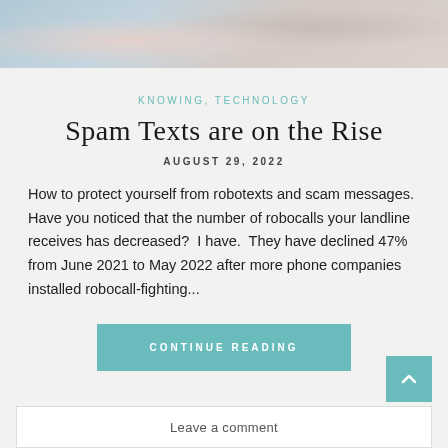[Figure (photo): Partial photo of person holding a phone, cropped at top of page]
KNOWING, TECHNOLOGY
Spam Texts are on the Rise
AUGUST 29, 2022
How to protect yourself from robotexts and scam messages. Have you noticed that the number of robocalls your landline receives has decreased?  I have.  They have declined 47% from June 2021 to May 2022 after more phone companies installed robocall-fighting...
CONTINUE READING
Leave a comment